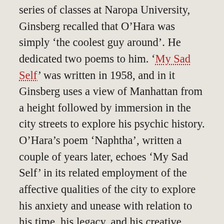series of classes at Naropa University, Ginsberg recalled that O'Hara was simply 'the coolest guy around'. He dedicated two poems to him. 'My Sad Self' was written in 1958, and in it Ginsberg uses a view of Manhattan from a height followed by immersion in the city streets to explore his psychic history. O'Hara's poem 'Naphtha', written a couple of years later, echoes 'My Sad Self' in its related employment of the affective qualities of the city to explore his anxiety and unease with relation to his time, his legacy, and his creative pressures and precedents. Ginsberg's second poem dedicated to O'Hara is his elegy, 'City Midnight Junk Strains', written after O'Hara's untimely death on Fire Island at the age of forty, in 1966. The poem, which Ginsberg wrote in an apartment on the Lower East Side two nights after attending O'Hara's funeral, is a loving testament to his friend's expansive capacity